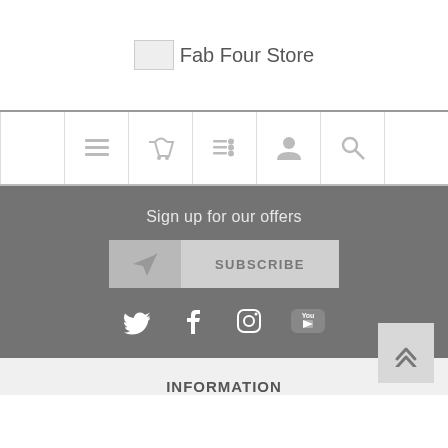Fab Four Store
[Figure (screenshot): Navigation bar with icons: menu/list, basket/cart, settings/list, user/account, search]
Sign up for our offers
SUBSCRIBE
[Figure (infographic): Social media icons: Twitter, Facebook, Instagram, YouTube]
INFORMATION